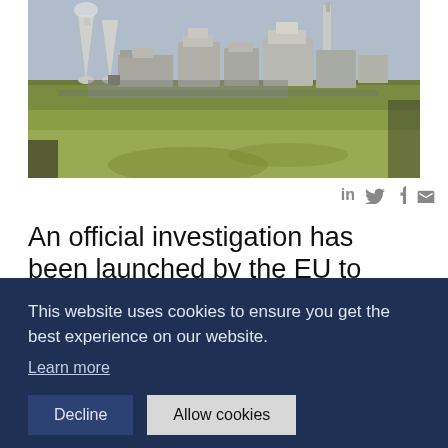[Figure (photo): Aerial view of a nuclear power plant with cooling towers and industrial buildings on a green field, cloudy sky in the background.]
in 🐦 f ✉
An official investigation has been launched by the EU to investigate suspicion of plans for unlawful use of a state subsidy in relation to the Paks nuclear power plant expansion project, known as Paks II, European Commissioner for Competition Margrethe Vestager wrote in a letter on Tuesday, online news
This website uses cookies to ensure you get the best experience on our website.
Learn more
Decline
Allow cookies